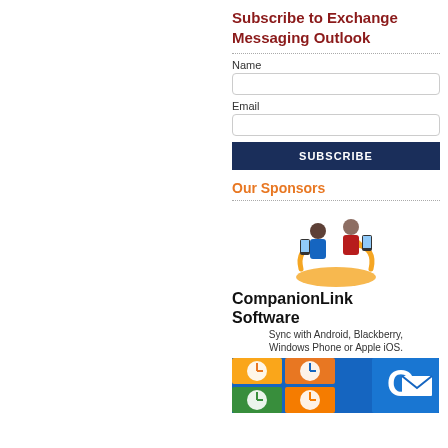Subscribe to Exchange Messaging Outlook
Name
Email
SUBSCRIBE
Our Sponsors
[Figure (logo): CompanionLink Software logo with two business people figures and a circular orange arrow, with text: CompanionLink Software - Sync with Android, Blackberry, Windows Phone or Apple iOS.]
[Figure (screenshot): Partial view of a Windows Phone / Outlook tile-style advertisement image showing calendar, clock and Outlook icons]